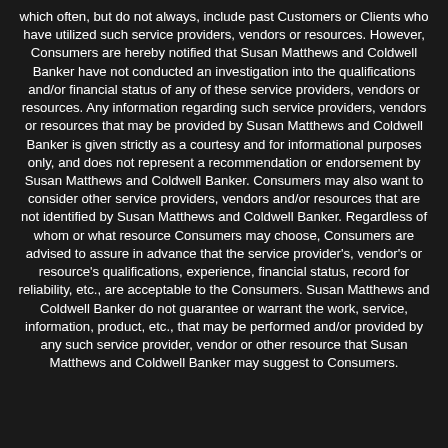which often, but do not always, include past Customers or Clients who have utilized such service providers, vendors or resources. However, Consumers are hereby notified that Susan Matthews and Coldwell Banker have not conducted an investigation into the qualifications and/or financial status of any of these service providers, vendors or resources. Any information regarding such service providers, vendors or resources that may be provided by Susan Matthews and Coldwell Banker is given strictly as a courtesy and for informational purposes only, and does not represent a recommendation or endorsement by Susan Matthews and Coldwell Banker. Consumers may also want to consider other service providers, vendors and/or resources that are not identified by Susan Matthews and Coldwell Banker. Regardless of whom or what resource Consumers may choose, Consumers are advised to assure in advance that the service provider's, vendor's or resource's qualifications, experience, financial status, record for reliability, etc., are acceptable to the Consumers. Susan Matthews and Coldwell Banker do not guarantee or warrant the work, service, information, product, etc., that may be performed and/or provided by any such service provider, vendor or other resource that Susan Matthews and Coldwell Banker may suggest to Consumers.